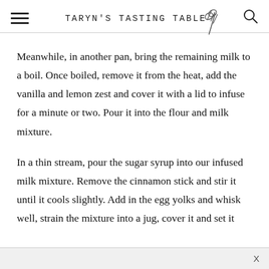TARYN'S TASTING TABLE
Meanwhile, in another pan, bring the remaining milk to a boil. Once boiled, remove it from the heat, add the vanilla and lemon zest and cover it with a lid to infuse for a minute or two. Pour it into the flour and milk mixture.
In a thin stream, pour the sugar syrup into our infused milk mixture. Remove the cinnamon stick and stir it until it cools slightly. Add in the egg yolks and whisk well, strain the mixture into a jug, cover it and set it